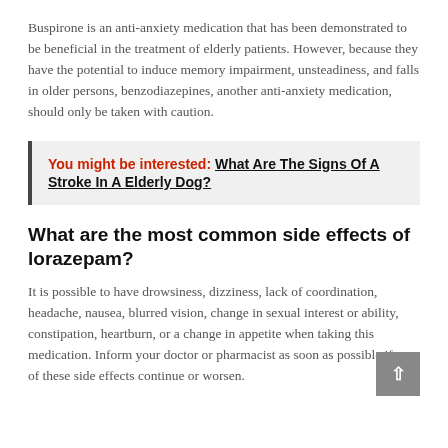Buspirone is an anti-anxiety medication that has been demonstrated to be beneficial in the treatment of elderly patients. However, because they have the potential to induce memory impairment, unsteadiness, and falls in older persons, benzodiazepines, another anti-anxiety medication, should only be taken with caution.
You might be interested: What Are The Signs Of A Stroke In A Elderly Dog?
What are the most common side effects of lorazepam?
It is possible to have drowsiness, dizziness, lack of coordination, headache, nausea, blurred vision, change in sexual interest or ability, constipation, heartburn, or a change in appetite when taking this medication. Inform your doctor or pharmacist as soon as possible if any of these side effects continue or worsen.